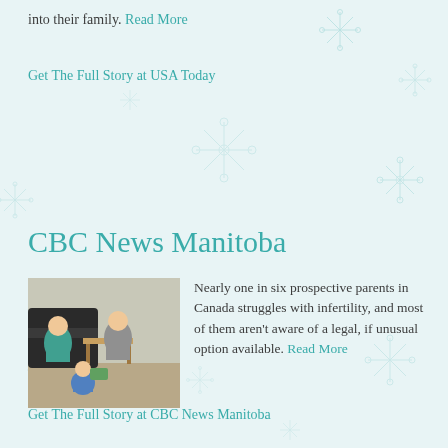into their family. Read More
Get The Full Story at USA Today
CBC News Manitoba
[Figure (photo): Photo of two adults and a young child playing on the floor indoors]
Nearly one in six prospective parents in Canada struggles with infertility, and most of them aren't aware of a legal, if unusual option available. Read More
Get The Full Story at CBC News Manitoba